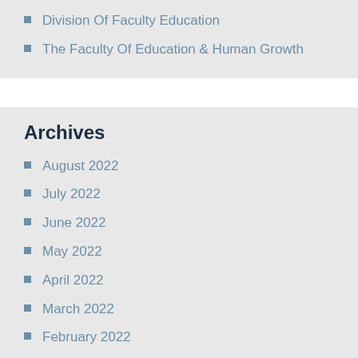Division Of Faculty Education
The Faculty Of Education & Human Growth
Archives
August 2022
July 2022
June 2022
May 2022
April 2022
March 2022
February 2022
January 2022
December 2021